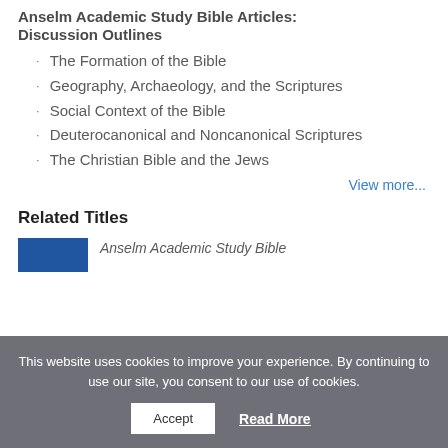Anselm Academic Study Bible Articles: Discussion Outlines
The Formation of the Bible
Geography, Archaeology, and the Scriptures
Social Context of the Bible
Deuterocanonical and Noncanonical Scriptures
The Christian Bible and the Jews
View more...
Related Titles
[Figure (other): Blue book cover thumbnail for a related title]
Anselm Academic Study Bible (partial title shown)
This website uses cookies to improve your experience. By continuing to use our site, you consent to our use of cookies.
Accept
Read More